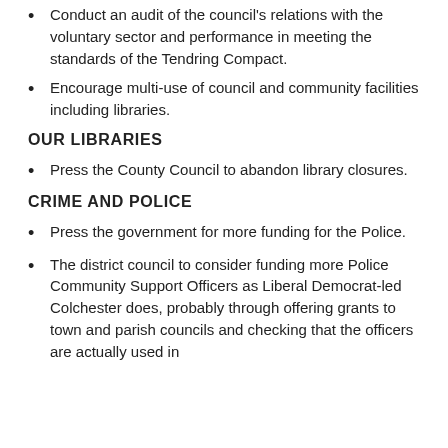Conduct an audit of the council's relations with the voluntary sector and performance in meeting the standards of the Tendring Compact.
Encourage multi-use of council and community facilities including libraries.
OUR LIBRARIES
Press the County Council to abandon library closures.
CRIME AND POLICE
Press the government for more funding for the Police.
The district council to consider funding more Police Community Support Officers as Liberal Democrat-led Colchester does, probably through offering grants to town and parish councils and checking that the officers are actually used in